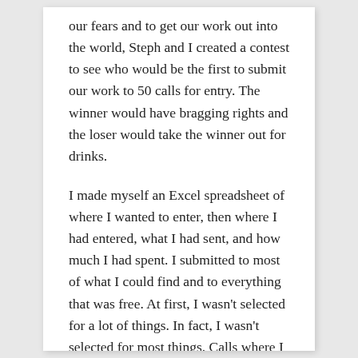our fears and to get our work out into the world, Steph and I created a contest to see who would be the first to submit our work to 50 calls for entry. The winner would have bragging rights and the loser would take the winner out for drinks.
I made myself an Excel spreadsheet of where I wanted to enter, then where I had entered, what I had sent, and how much I had spent. I submitted to most of what I could find and to everything that was free. At first, I wasn't selected for a lot of things. In fact, I wasn't selected for most things. Calls where I thought I would be a fantastic fit never wrote me back. Then after dozens of